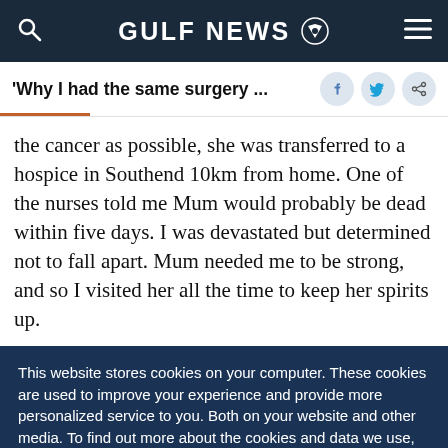GULF NEWS
'Why I had the same surgery ...
the cancer as possible, she was transferred to a hospice in Southend 10km from home. One of the nurses told me Mum would probably be dead within five days. I was devastated but determined not to fall apart. Mum needed me to be strong, and so I visited her all the time to keep her spirits up.
This website stores cookies on your computer. These cookies are used to improve your experience and provide more personalized service to you. Both on your website and other media. To find out more about the cookies and data we use, please check out our Privacy Policy.
OK